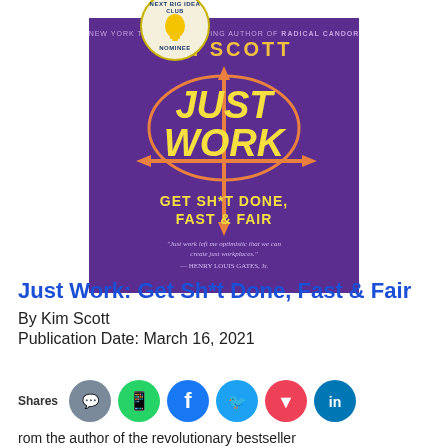[Figure (photo): Book cover of 'Just Work: Get Sh*t Done, Fast & Fair' by Kim Scott. Purple background with orange cross/arrow design and yellow title text. Includes a Next Big Idea Club Nominee badge.]
Just Work: Get Sh*t Done, Fast & Fair
By Kim Scott
Publication Date: March 16, 2021
Shares
rom the author of the revolutionary bestseller